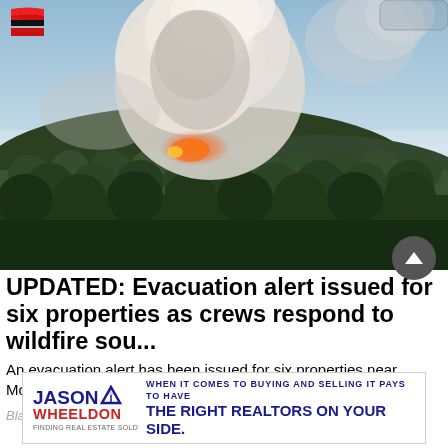[Figure (photo): Aerial photograph of a wildfire burning on a forested mountain near Cranbrook, BC, with large smoke plumes rising into the sky. Dense conifer forest visible in foreground. Red aircraft logo visible in top-left corner.]
UPDATED: Evacuation alert issued for six properties as crews respond to wildfire sou...
An evacuation alert has been issued for six properties near Mount Baker south of Cranbrook, as fire crews respond to t...
Black Press Media
[Figure (logo): Jason Wheeldon real estate advertisement banner: 'WHEN IT COMES TO BUYING AND SELLING IT PAYS TO HAVE THE RIGHT REALTORS ON YOUR SIDE.']